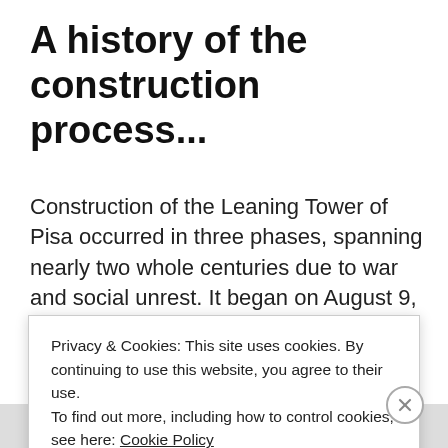A history of the construction process...
Construction of the Leaning Tower of Pisa occurred in three phases, spanning nearly two whole centuries due to war and social unrest. It began on August 9, 1173. And the tower stood upright for the first five years, but, by the time builders finished the construction of the second floor by 1178, the whole structure began to
Privacy & Cookies: This site uses cookies. By continuing to use this website, you agree to their use.
To find out more, including how to control cookies, see here: Cookie Policy
CLOSE AND ACCEPT